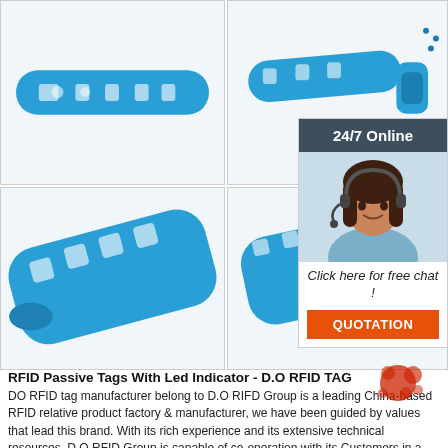[Figure (photo): Four quadrant product photos of blue RFID silicone wristbands/bracelets with holes, shown from different angles]
[Figure (infographic): Chat widget overlay showing '24/7 Online' header, customer service woman with headset, 'Click here for free chat!' message, and orange QUOTATION button]
RFID Passive Tags With Led Indicator - D.O RFID TAG
DO RFID tag manufacturer belong to D.O RIFD Group is a leading China-based RFID relative product factory & manufacturer, we have been guided by values that lead this brand. With its rich experience and its extensive technical resources, D.O RFID Group is capable of co-operation with its Customers in a flexible way fully dedicated to meeting the